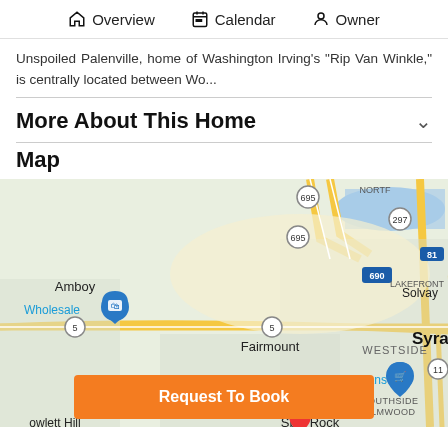Overview  Calendar  Owner
Unspoiled Palenville, home of Washington Irving's "Rip Van Winkle," is centrally located between Wo...
More About This Home
Map
[Figure (map): Google map showing area around Solvay, Fairmount, Westvale, Split Rock, and western Syracuse NY. Includes route markers for highways 695, 297, 690, 81, 5, 11. Place labels include Amboy, Wholesale, Solvay, LAKEFRONT, Fairmount, WESTSIDE, Westvale, Wegmans, Split Rock Quarry Stone Crusher, Split Rock, owlett Hill, Syracuse, SOUTHSIDE ELMWOOD. An orange location pin is visible near Split Rock.]
Request To Book